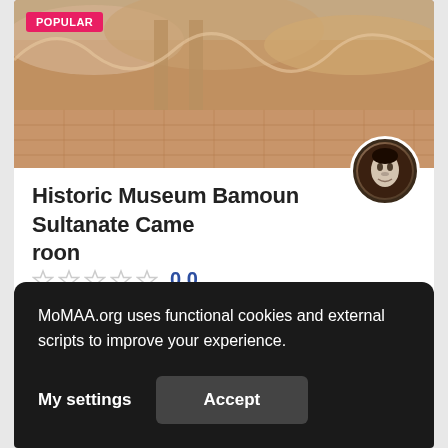[Figure (photo): Photo of the Historic Museum Bamoun Sultanate Cameroon building exterior with a POPULAR badge overlay]
Historic Museum Bamoun Sultanate Cameroon
0.0
Cameroon
+237 699644209
MoMAA.org uses functional cookies and external scripts to improve your experience.
My settings    Accept